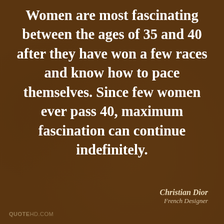Women are most fascinating between the ages of 35 and 40 after they have won a few races and know how to pace themselves. Since few women ever pass 40, maximum fascination can continue indefinitely.
Christian Dior
French Designer
QUOTEHD.COM